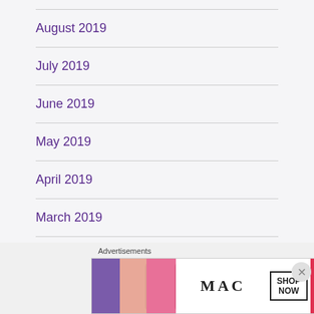August 2019
July 2019
June 2019
May 2019
April 2019
March 2019
February 2019
[Figure (other): MAC Cosmetics advertisement banner showing lipsticks with 'SHOP NOW' button]